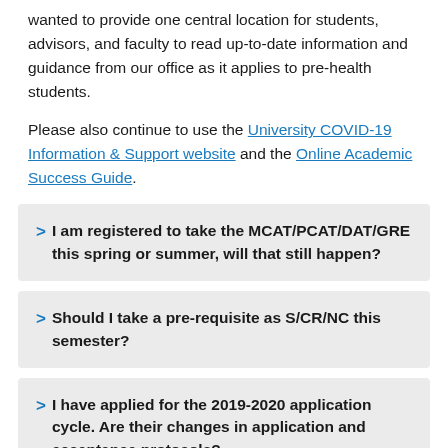wanted to provide one central location for students, advisors, and faculty to read up-to-date information and guidance from our office as it applies to pre-health students.
Please also continue to use the University COVID-19 Information & Support website and the Online Academic Success Guide.
I am registered to take the MCAT/PCAT/DAT/GRE this spring or summer, will that still happen?
Should I take a pre-requisite as S/CR/NC this semester?
I have applied for the 2019-2020 application cycle. Are their changes in application and acceptance protocols?